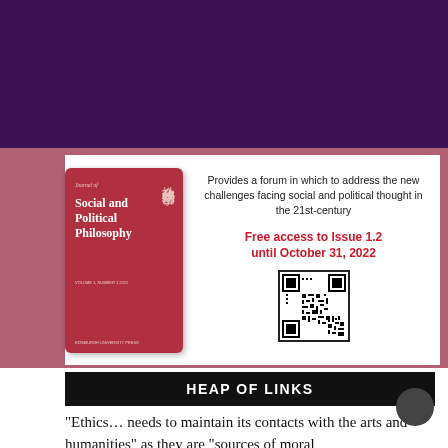[Figure (illustration): Advertisement for Journal of Social and Political Philosophy. Dark purple top banner with diagonal cut, mauve stripe, red journal cover with Chinese characters and English title, text about forum for social and political thought, free access to Issue 1.2 until October 31 2022, and a QR code.]
HEAP OF LINKS
“Ethics… needs to maintain its contacts with the arts and humanities” as they are “sources of moral